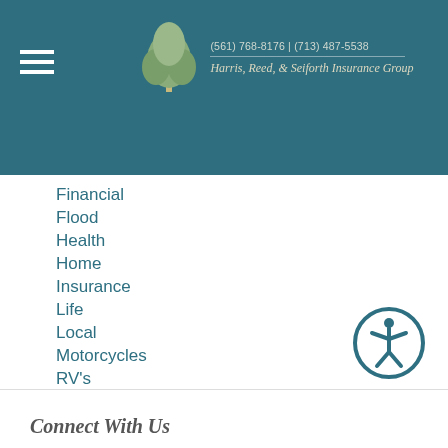(561) 768-8176 | (713) 487-5538  Harris, Reed, & Seiforth Insurance Group
Financial
Flood
Health
Home
Insurance
Life
Local
Motorcycles
RV's
Safety
Snowmobile
Trailer
RSS Feed
Connect With Us